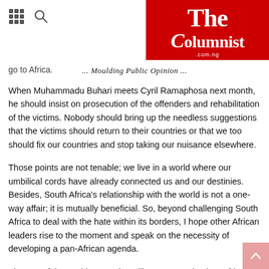The Columnist .com.ng ... Moulding Public Opinion ...
go to Africa.
When Muhammadu Buhari meets Cyril Ramaphosa next month, he should insist on prosecution of the offenders and rehabilitation of the victims. Nobody should bring up the needless suggestions that the victims should return to their countries or that we too should fix our countries and stop taking our nuisance elsewhere.
Those points are not tenable; we live in a world where our umbilical cords have already connected us and our destinies. Besides, South Africa's relationship with the world is not a one-way affair; it is mutually beneficial. So, beyond challenging South Africa to deal with the hate within its borders, I hope other African leaders rise to the moment and speak on the necessity of developing a pan-African agenda.
The rest of the world cannot be telling us to “go back to Africa,” and we also limit ourselves to the confines of our artificial national borders.